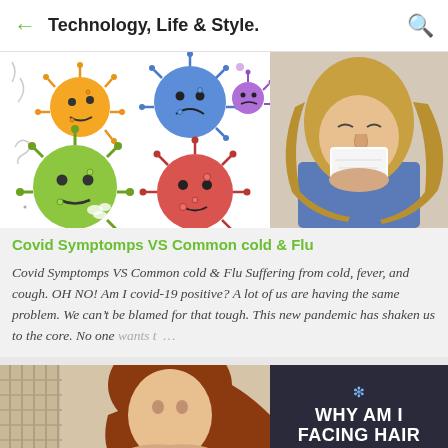Technology, Life & Style.
[Figure (illustration): Cartoon colorful virus/germ characters on white background (orange, blue, purple, green, red)]
[Figure (photo): Woman with blonde hair blowing her nose with a tissue]
Covid Symptomps VS Common cold & Flu
Covid Symptomps VS Common cold & Flu Suffering from cold, fever, and cough. OH NO! Am I covid-19 positive? A lot of us are having the same problem. We can't be blamed for that tough. This new pandemic has shaken us to the core. No one wants t …
[Figure (photo): Woman with red/auburn hair, partial face visible]
[Figure (infographic): Dark background with snowflake icon and text WHY AM I FACING HAIR]